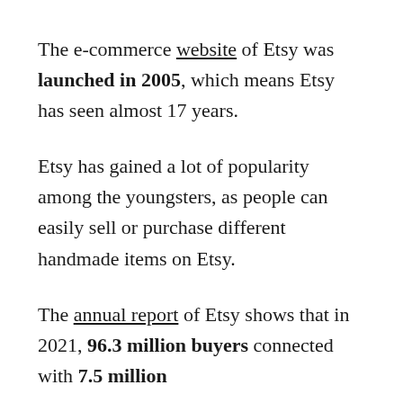The e-commerce website of Etsy was launched in 2005, which means Etsy has seen almost 17 years.
Etsy has gained a lot of popularity among the youngsters, as people can easily sell or purchase different handmade items on Etsy.
The annual report of Etsy shows that in 2021, 96.3 million buyers connected with 7.5 million